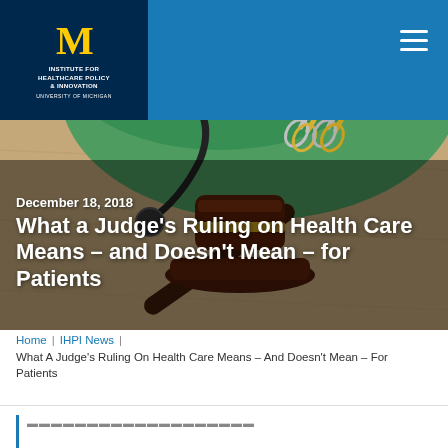[Figure (photo): Hero image showing a judge's gavel on a wooden surface with a green surgical gown and stethoscope in the background, along with surgical scissors. University of Michigan Institute for Healthcare Policy & Innovation logo in top-left corner on dark navy background with yellow block M. Blue header bar with hamburger menu icon in top-right.]
December 18, 2018
What a Judge's Ruling on Health Care Means – and Doesn't Mean – for Patients
Home | IHPI News | What A Judge's Ruling On Health Care Means – And Doesn't Mean – For Patients